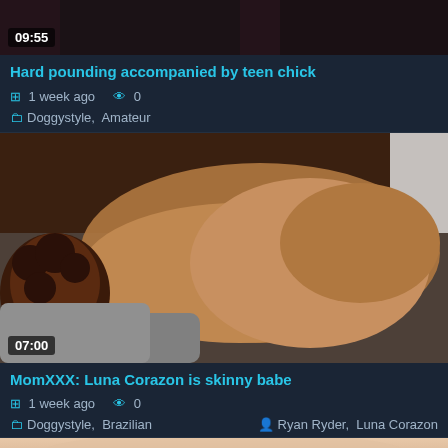[Figure (photo): Video thumbnail - top portion of first video, cropped, showing dark background with figures]
09:55
Hard pounding accompanied by teen chick
1 week ago   0
Doggystyle,  Amateur
[Figure (photo): Video thumbnail showing a woman on a couch in an adult video scene, duration 07:00]
07:00
MomXXX: Luna Corazon is skinny babe
1 week ago   0
Doggystyle,  Brazilian    Ryan Ryder,  Luna Corazon
[Figure (photo): Bottom portion of third video thumbnail, partially visible, light skin tones]